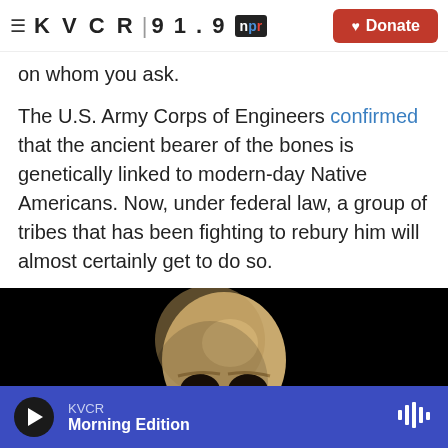≡ KVCR 91.9 npr [Donate]
on whom you ask.
The U.S. Army Corps of Engineers confirmed that the ancient bearer of the bones is genetically linked to modern-day Native Americans. Now, under federal law, a group of tribes that has been fighting to rebury him will almost certainly get to do so.
[Figure (photo): 3D scan or photo of an ancient human skull against a black background, facing slightly downward with skeletal hands visible at the bottom]
KVCR Morning Edition [play button] [waveform icon]